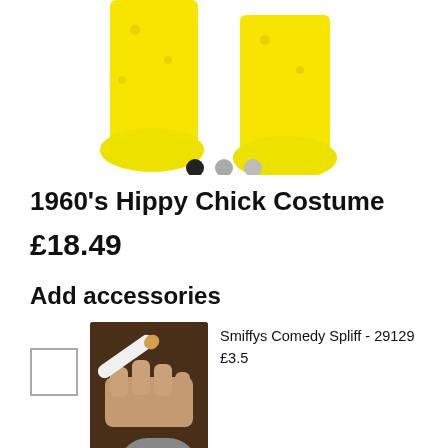[Figure (photo): Lower half of a yellow hippy chick costume showing two yellow-clad legs and feet against a white background. Carousel dots (black, grey, grey) beneath the image.]
1960's Hippy Chick Costume
£18.49
Add accessories
[Figure (photo): Photo of someone holding a white comedy spliff prop (Smiffys Comedy Spliff - 29129), shown against dark hair.]
Smiffys Comedy Spliff - 29129
£3.5